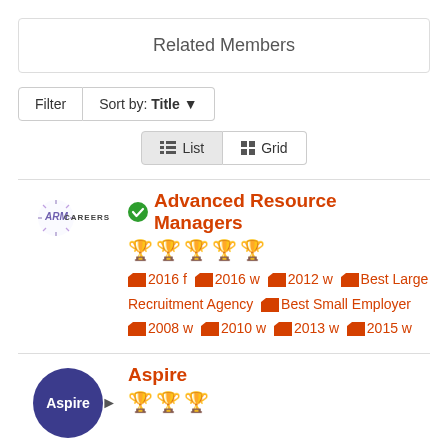Related Members
Filter  Sort by: Title ▼
≡ List  ⊞ Grid
✔ Advanced Resource Managers
🏆🏆🏆🏆🏆 (5 trophies)
📁 2016 f  📁 2016 w  📁 2012 w  📁 Best Large Recruitment Agency  📁 Best Small Employer  📁 2008 w  📁 2010 w  📁 2013 w  📁 2015 w
Aspire
🏆🏆🏆 (3 trophies)